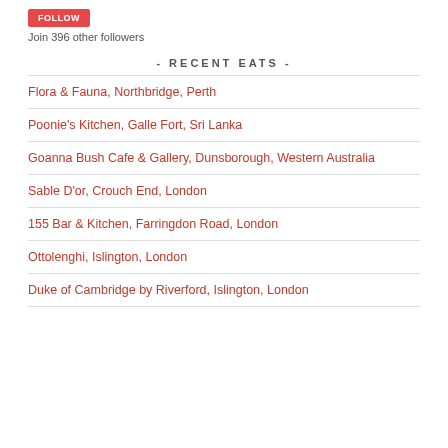[Figure (other): Red follow button]
Join 396 other followers
- RECENT EATS -
Flora & Fauna, Northbridge, Perth
Poonie's Kitchen, Galle Fort, Sri Lanka
Goanna Bush Cafe & Gallery, Dunsborough, Western Australia
Sable D'or, Crouch End, London
155 Bar & Kitchen, Farringdon Road, London
Ottolenghi, Islington, London
Duke of Cambridge by Riverford, Islington, London